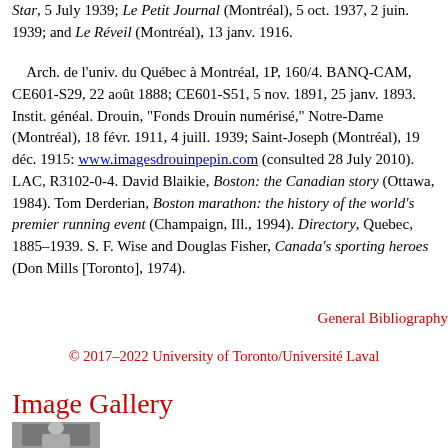Star, 5 July 1939; Le Petit Journal (Montréal), 5 oct. 1937, 2 juin. 1939; and Le Réveil (Montréal), 13 janv. 1916.
Arch. de l'univ. du Québec à Montréal, 1P, 160/4. BANQ-CAM, CE601-S29, 22 août 1888; CE601-S51, 5 nov. 1891, 25 janv. 1893. Instit. généal. Drouin, "Fonds Drouin numérisé," Notre-Dame (Montréal), 18 févr. 1911, 4 juill. 1939; Saint-Joseph (Montréal), 19 déc. 1915: www.imagesdrouinpepin.com (consulted 28 July 2010). LAC, R3102-0-4. David Blaikie, Boston: the Canadian story (Ottawa, 1984). Tom Derderian, Boston marathon: the history of the world's premier running event (Champaign, Ill., 1994). Directory, Quebec, 1885–1939. S. F. Wise and Douglas Fisher, Canada's sporting heroes (Don Mills [Toronto], 1974).
General Bibliography
© 2017–2022 University of Toronto/Université Laval
Image Gallery
[Figure (photo): Black and white photograph of a person, partially visible at bottom of page]